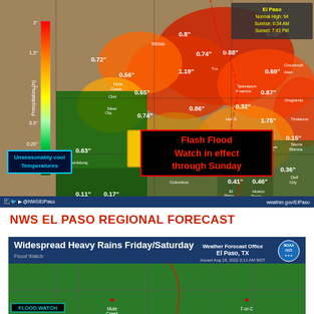[Figure (map): NWS El Paso precipitation map showing rainfall amounts across southwestern New Mexico and west Texas. Colored heat map from green to red indicating precipitation amounts. Precipitation values shown: 0.72", 0.56", 0.65", 0.74", 0.63", 0.11", 0.17", 0.08", 0.8", 0.74", 1.19", 0.86", 0.29", 0.13", 0.88", 0.32", 0.48", 0.69", 0.87", 0.75", 0.62", 0.46", 0.41", 0.36", 0.15". Yellow box: 'Turn Around Don't Drown'. Cyan box: 'Unseasonably cool Temperatures'. Red box: 'Flash Flood Watch in effect through Sunday'. Top right: El Paso Normal High 94, Sunrise 6:34 AM, Sunset 7:43 PM.]
NWS EL PASO REGIONAL FORECAST
[Figure (map): NWS El Paso Flood Watch graphic. Title: 'Widespread Heavy Rains Friday/Saturday'. Subtitle: 'Flood Watch'. Weather Forecast Office El Paso, TX. Issued Aug 18, 2022 2:11 AM MDT. Green map showing county outlines for southern New Mexico and west Texas region. FLOOD WATCH label visible at bottom left. Cities shown: Mule Creek, T-or-C.]